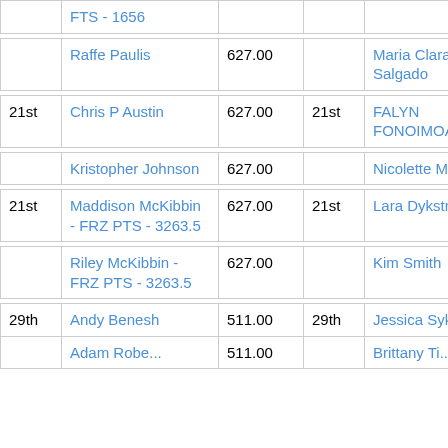| Rank | Name | Score | Rank | Name | Score |
| --- | --- | --- | --- | --- | --- |
|  | FTS - 1656 |  |  |  |  |
|  | Raffe Paulis | 627.00 |  | Maria Clara Salgado | 627.0 |
| 21st | Chris P Austin | 627.00 | 21st | FALYN FONOIMOANA | 627.0 |
|  | Kristopher Johnson | 627.00 |  | Nicolette Martin | 627.0 |
| 21st | Maddison McKibbin - FRZ PTS - 3263.5 | 627.00 | 21st | Lara Dykstra | 627.0 |
|  | Riley McKibbin - FRZ PTS - 3263.5 | 627.00 |  | Kim Smith | 627.0 |
| 29th | Andy Benesh | 511.00 | 29th | Jessica Sykora | 511.0 |
|  | Adam Roberts... | 511.00 |  | Brittany Ti... | 511. |